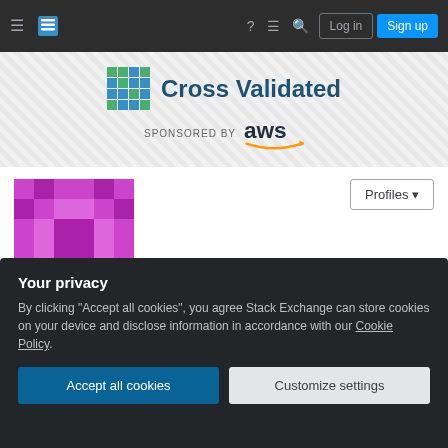Cross Validated navigation bar with Log in and Sign up buttons
[Figure (logo): Cross Validated logo with AWS sponsorship banner]
[Figure (illustration): User avatar: purple geometric/pixel art identicon]
Profiles (dropdown button)
user2808118
Member for 7 years, 7 months   Last seen more than 1 year ago
Your privacy
By clicking "Accept all cookies", you agree Stack Exchange can store cookies on your device and disclose information in accordance with our Cookie Policy.
Accept all cookies   Customize settings